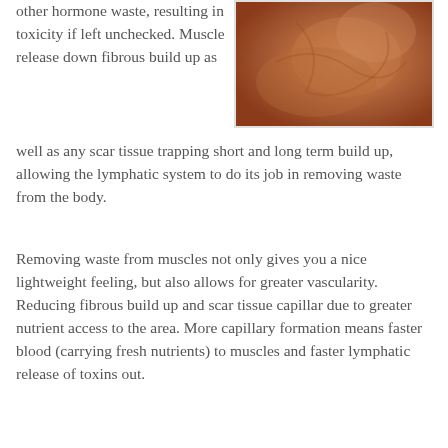[Figure (photo): Close-up photograph of human skin/body tissue with warm brown and orange tones]
other hormone waste, resulting in toxicity if left unchecked. Muscle release down fibrous build up as well as any scar tissue trapping short and long term build up, allowing the lymphatic system to do its job in removing waste from the body.
Removing waste from muscles not only gives you a nice lightweight feeling, but also allows for greater vascularity. Reducing fibrous build up and scar tissue capillar due to greater nutrient access to the area. More capillary formation means faster blood (carrying fresh nutrients) to muscles and faster lymphatic release of toxins out.
Compressi nerves reduce functionality, effecting structural/functional health in the muscular skeletal system or optimum health it is best to keep excessive pressure off nerves.
Remember, your nervous system dictates successful function of every system in your body, in the same way your power